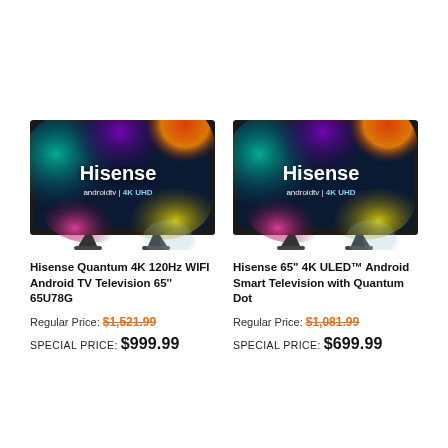[Figure (photo): Hisense TV showing colorful smoke art on screen with 'Hisense androidtv 4K UHD' branding, left product]
Hisense Quantum 4K 120Hz WIFI Android TV Television 65" 65U78G
Regular Price: $1,521.99
SPECIAL PRICE: $999.99
[Figure (photo): Hisense TV showing colorful smoke art on screen with 'Hisense androidtv 4K UHD' branding, right product]
Hisense 65" 4K ULED™ Android Smart Television with Quantum Dot
Regular Price: $1,081.99
SPECIAL PRICE: $699.99